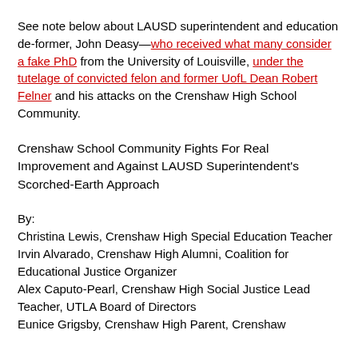See note below about LAUSD superintendent and education de-former, John Deasy—who received what many consider a fake PhD from the University of Louisville, under the tutelage of convicted felon and former UofL Dean Robert Felner and his attacks on the Crenshaw High School Community.
Crenshaw School Community Fights For Real Improvement and Against LAUSD Superintendent's Scorched-Earth Approach
By:
Christina Lewis, Crenshaw High Special Education Teacher
Irvin Alvarado, Crenshaw High Alumni, Coalition for Educational Justice Organizer
Alex Caputo-Pearl, Crenshaw High Social Justice Lead Teacher, UTLA Board of Directors
Eunice Grigsby, Crenshaw High Parent, Crenshaw